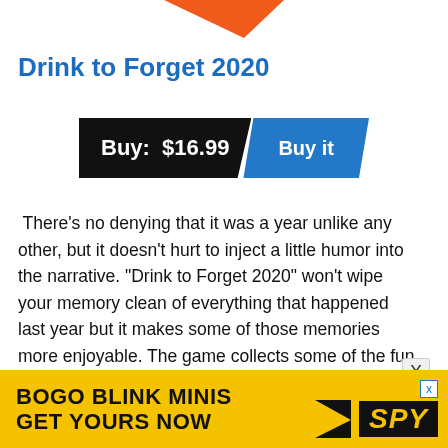[Figure (illustration): Orange triangular shape at top center of page]
Drink to Forget 2020
[Figure (infographic): Buy button with price: black parallelogram 'Buy: $16.99' and blue parallelogram 'Buy it']
There’s no denying that it was a year unlike any other, but it doesn’t hurt to inject a little humor into the narrative. “Drink to Forget 2020” won’t wipe your memory clean of everything that happened last year but it makes some of those memories more enjoyable. The game collects some of the fun and cringey quarantine memories from the last year, mixed in with corny jokes and other icebreaker topics, and
[Figure (infographic): Yellow advertisement banner at bottom: 'BOGO BLINK MINIS GET YOURS NOW' with SPY logo in black on yellow background]